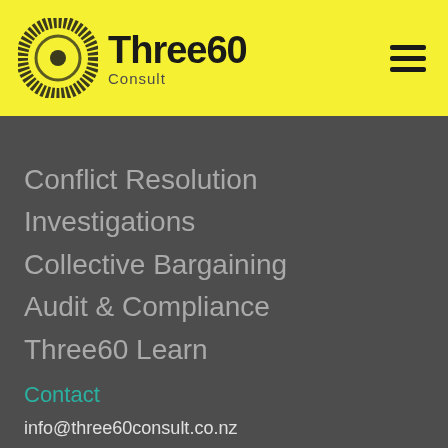[Figure (logo): Three60 Consult logo: circular spiral icon in black/yellow with company name 'Three60' bold and 'Consult' subtitle, on yellow background header bar with hamburger menu icon]
Conflict Resolution
Investigations
Collective Bargaining
Audit & Compliance
Three60 Learn
Contact
info@three60consult.co.nz
09 273 8590